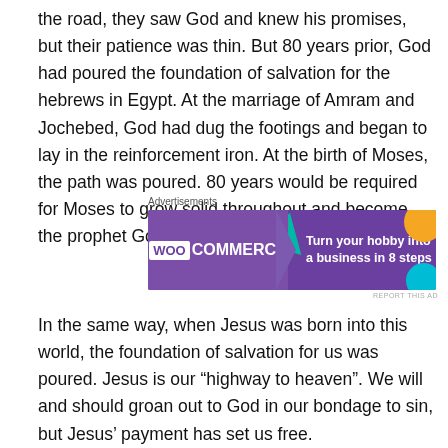the road, they saw God and knew his promises, but their patience was thin.  But 80 years prior, God had poured the foundation of salvation for the hebrews in Egypt.  At the marriage of Amram and Jochebed, God had dug the footings and began to lay in the reinforcement iron.  At the birth of Moses, the path was poured.  80 years would be required for Moses to grow solid throughout and become the prophet God had designed him to be.
[Figure (other): WooCommerce advertisement banner: purple background with WooCommerce logo on left, teal triangle shape, text 'Turn your hobby into a business in 8 steps' on right, orange and cyan decorative blobs]
In the same way, when Jesus was born into this world, the foundation of salvation for us was poured.  Jesus is our “highway to heaven”.  We will and should groan out to God in our bondage to sin, but Jesus’ payment has set us free.